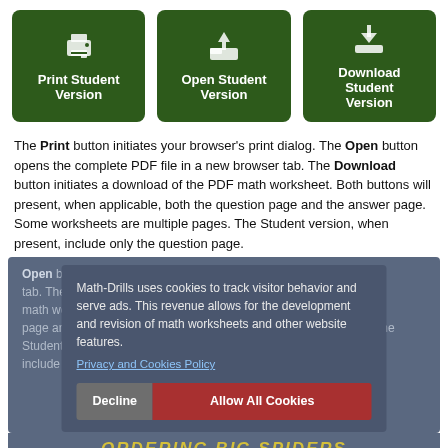[Figure (screenshot): Three green buttons: Print Student Version, Open Student Version, Download Student Version]
The Print button initiates your browser's print dialog. The Open button opens the complete PDF file in a new browser tab. The Download button initiates a download of the PDF math worksheet. Both buttons will present, when applicable, both the question page and the answer page. Some worksheets are multiple pages. The Student version, when present, includes only the question page.
[Figure (screenshot): Cookie consent overlay: Math-Drills uses cookies to track visitor behavior and serve ads. This revenue allows for the development and revision of math worksheets and other website features. Privacy and Cookies Policy link. Decline and Allow All Cookies buttons.]
[Figure (screenshot): Ordering Big Spiders worksheet preview with numbers: 88 55 66 15 19 38 22 94]